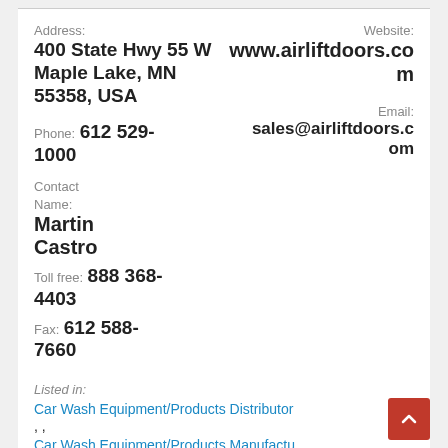Address: 400 State Hwy 55 W Maple Lake, MN 55358, USA
Website: www.airliftdoors.com
Phone: 612 529-1000
Email: sales@airliftdoors.com
Contact Name: Martin Castro
Toll free: 888 368-4403
Fax: 612 588-7660
Listed in:
Car Wash Equipment/Products Distributor, ,
Car Wash Equipment/Products Manufacturer